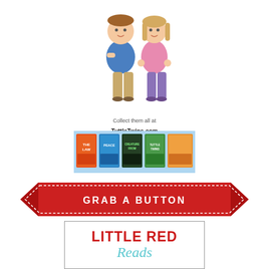[Figure (illustration): Two cartoon children, a boy with arms crossed wearing a blue shirt and khaki pants, and a girl with her hands on her hips wearing a pink shirt and purple pants. Tuttle Twins book series characters.]
Collect them all at TuttleTwins.com
[Figure (illustration): A strip of Tuttle Twins book covers shown in a row on a light blue background: The Law, Peace, Creature from Jekyll Island, The Tuttle Twins and the Food Truck, and others.]
[Figure (infographic): A red ribbon banner with white text reading GRAB A BUTTON in capital letters, with decorative points on each side.]
[Figure (illustration): A bordered box containing the text LITTLE RED in bold red capital letters and Reads in teal/turquoise italic script below.]